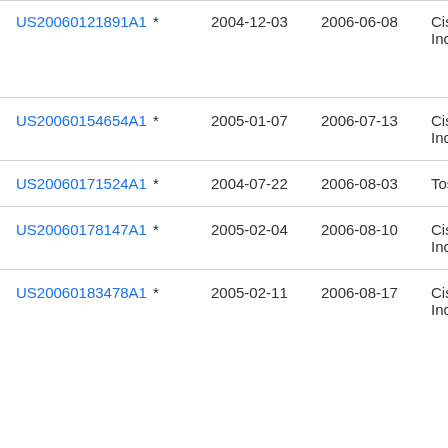| Publication number | Filing date | Publication date | Assignee |
| --- | --- | --- | --- |
| US20060121891A1 * | 2004-12-03 | 2006-06-08 | Cis
Inc |
| US20060154654A1 * | 2005-01-07 | 2006-07-13 | Cis
Inc |
| US20060171524A1 * | 2004-07-22 | 2006-08-03 | Tos |
| US20060178147A1 * | 2005-02-04 | 2006-08-10 | Cis
Inc |
| US20060183478A1 * | 2005-02-11 | 2006-08-17 | Cis
Inc |